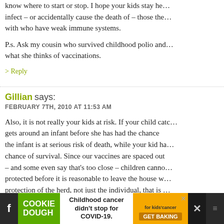know where to start or stop. I hope your kids stay healthy and don't infect – or accidentally cause the death of – those they come in contact with who have weak immune systems.

P.s. Ask my cousin who survived childhood polio and is in an iron lung what she thinks of vaccinations.
> Reply
Gillian says:
FEBRUARY 7TH, 2010 AT 11:53 AM
Also, it is not really your kids at risk. If your child catches measles and gets around an infant before she has had the chance to be vaccinated, the infant is at serious risk of death, while your kid has a good chance of survival. Since our vaccines are spaced out over 2 years – and some even say that's too close – children cannot be fully protected before it is reasonable to leave the house with them. The protection of the herd, not just the individual, that is why I am filled with fear, as I am expecting an infant soon, that it will see the death of thousands of infants, and the crippling by polio of th...
[Figure (screenshot): Advertisement bar at bottom: Cookie Dough green logo, 'Childhood cancer didn't stop for COVID-19.' text, cookies for kids cancer orange logo with GET BAKING button, close X, and dark social media icons]